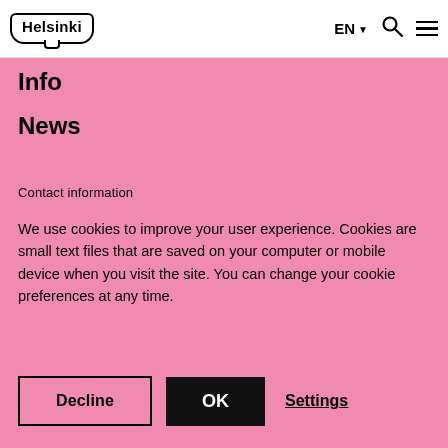Helsinki — EN — Search — Menu
Info
News
Contact information
We use cookies to improve your user experience. Cookies are small text files that are saved on your computer or mobile device when you visit the site. You can change your cookie preferences at any time.
Decline | OK | Settings